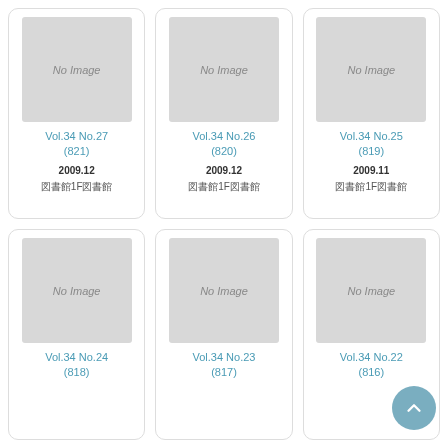[Figure (other): Card with No Image placeholder, Vol.34 No.27 (821), date 2009.12, location text]
[Figure (other): Card with No Image placeholder, Vol.34 No.26 (820), date 2009.12, location text]
[Figure (other): Card with No Image placeholder, Vol.34 No.25 (819), date 2009.11, location text]
[Figure (other): Card with No Image placeholder, Vol.34 No.24 (818)]
[Figure (other): Card with No Image placeholder, Vol.34 No.23 (817)]
[Figure (other): Card with No Image placeholder, Vol.34 No.22 (816)]